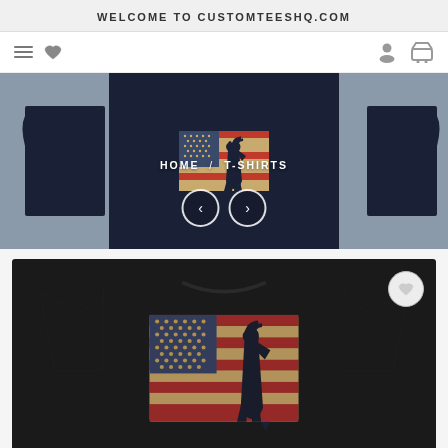WELCOME TO CUSTOMTEESHQ.COM
[Figure (screenshot): Navigation bar with hamburger menu, heart/wishlist icon, user icon, and shopping basket icon]
[Figure (screenshot): Website hero/carousel area showing a dark navy T-shirt with American flag and rooster graphic centered, with blueish-grey side panels. Breadcrumb navigation shows HOME / T-SHIRTS. Left and right carousel arrow buttons are visible.]
HOME / T-SHIRTS
[Figure (photo): Black T-shirt product photo showing an American flag with a rooster silhouette design on the front of the shirt. The flag has a vintage/distressed look with stars and stripes in red, white, and gold tones.]